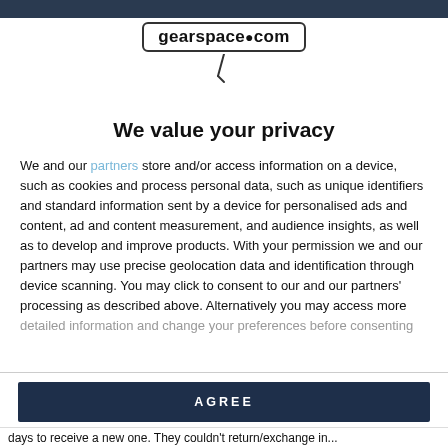gearspace.com
[Figure (logo): gearspace.com logo with microphone icon below]
We value your privacy
We and our partners store and/or access information on a device, such as cookies and process personal data, such as unique identifiers and standard information sent by a device for personalised ads and content, ad and content measurement, and audience insights, as well as to develop and improve products. With your permission we and our partners may use precise geolocation data and identification through device scanning. You may click to consent to our and our partners' processing as described above. Alternatively you may access more detailed information and change your preferences before consenting
AGREE
MORE OPTIONS
days to receive a new one. They couldn't return/exchange in...